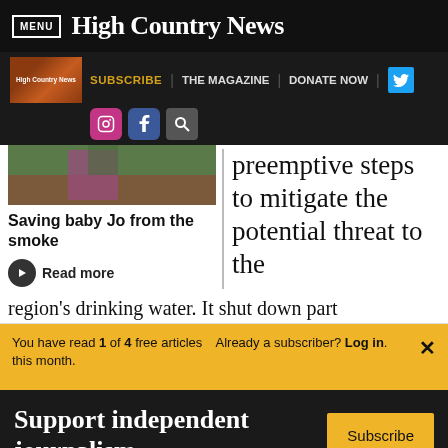MENU | High Country News
SUBSCRIBE | THE MAGAZINE | DONATE NOW
[Figure (screenshot): Article thumbnail image showing a nature/outdoor scene with person in pink/magenta clothing among rocks and greenery]
Saving baby Jo from the smoke
Read more
preemptive steps to mitigate the potential threat to the
region's drinking water. It shut down part
You have read 1 of 4 free articles this month.
Already a subscriber? Log in.
Support independent journalism.
Subscribe